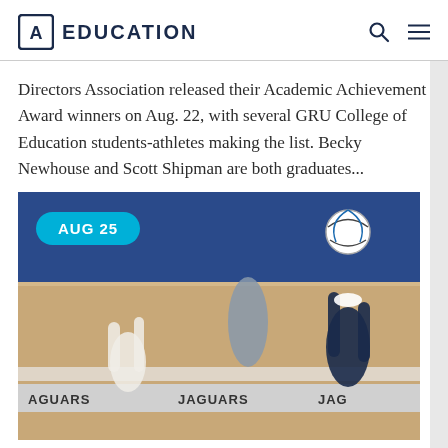EDUCATION
Directors Association released their Academic Achievement Award winners on Aug. 22, with several GRU College of Education students-athletes making the list. Becky Newhouse and Scott Shipman are both graduates...
[Figure (photo): Volleyball players at a court with JAGUARS banner, with an AUG 25 date badge overlay]